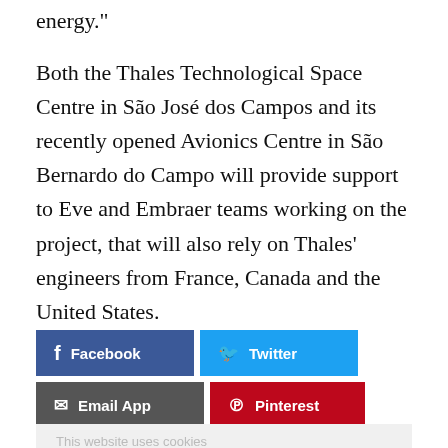energy."
Both the Thales Technological Space Centre in São José dos Campos and its recently opened Avionics Centre in São Bernardo do Campo will provide support to Eve and Embraer teams working on the project, that will also rely on Thales' engineers from France, Canada and the United States.
[Figure (infographic): Social sharing buttons: Facebook (blue), Twitter (light blue), Email App (dark grey), Pinterest (red), More (red/orange)]
This website uses cookies
More information
Get the latest news in your inbox!